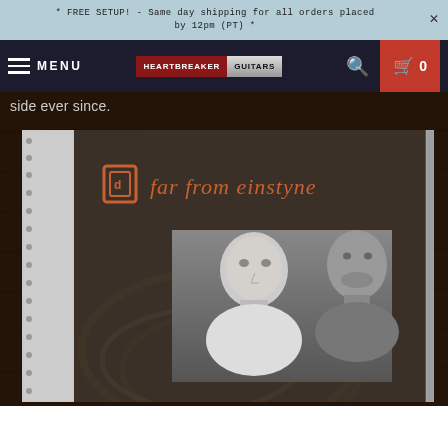* FREE SETUP! - Same day shipping for all orders placed by 12pm (PT) *
MENU | HEARTBREAKER GUITARS | Search | Cart 0
side ever since.
[Figure (photo): A CD album cover for 'Far From Einstyne' showing two young men in a black and white photo. The album title is written in an orange/rust colored stylized font at the top of the jewel case cover. The CD is in a clear plastic jewel case.]